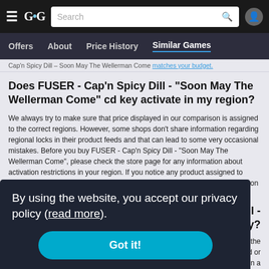GG | Search
Offers | About | Price History | Similar Games
Cap'n Spicy Dill – Soon May The Wellerman Come matches your budget.
Does FUSER - Cap'n Spicy Dill - "Soon May The Wellerman Come" cd key activate in my region?
We always try to make sure that price displayed in our comparison is assigned to the correct regions. However, some shops don't share information regarding regional locks in their product feeds and that can lead to some very occasional mistakes. Before you buy FUSER - Cap'n Spicy Dill - "Soon May The Wellerman Come", please check the store page for any information about activation restrictions in your region. If you notice any product assigned to incorrect region on GG deals, contact us and we will correct the listing as soon as possible.
By using the website, you accept our privacy policy (read more).
Got it!
...ill - ...ately?
...the ...ownload or ...a corresponding platform, you will be able to download and play your game for free. If you don't know how to activate the key, check out the tutorials section o...